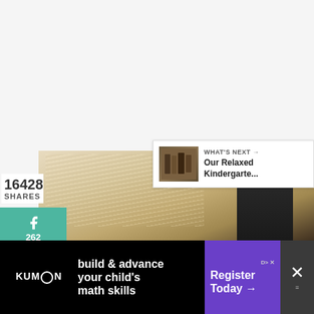16428
SHARES
[Figure (infographic): Social share sidebar with Facebook (262), Twitter, Pinterest (16166), Reddit buttons in teal/green color]
[Figure (infographic): Floating heart button with 16.5K count and share circle button]
[Figure (infographic): What's Next panel with thumbnail and title 'Our Relaxed Kindergarte...']
[Figure (photo): Photo showing a fluffy white/cream rug or fur surface with a dark object (boot/shoe) visible]
[Figure (infographic): Kumon advertisement banner: 'build & advance your child's math skills' with purple 'Register Today' button and close X button]